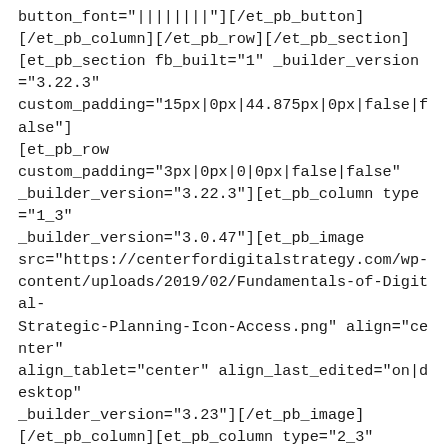button_font="||||||||"][/et_pb_button] [/et_pb_column][/et_pb_row][/et_pb_section] [et_pb_section fb_built="1" _builder_version="3.22.3" custom_padding="15px|0px|44.875px|0px|false|false"] [et_pb_row custom_padding="3px|0px|0|0px|false|false" _builder_version="3.22.3"][et_pb_column type="1_3" _builder_version="3.0.47"][et_pb_image src="https://centerfordigitalstrategy.com/wp-content/uploads/2019/02/Fundamentals-of-Digital-Strategic-Planning-Icon-Access.png" align="center" align_tablet="center" align_last_edited="on|desktop" _builder_version="3.23"][/et_pb_image] [/et_pb_column][et_pb_column type="2_3" _builder_version="3.0.47"][et_pb_text _builder_version="3.19.2" text_font="||||||||"  text_font="3.0.47"]